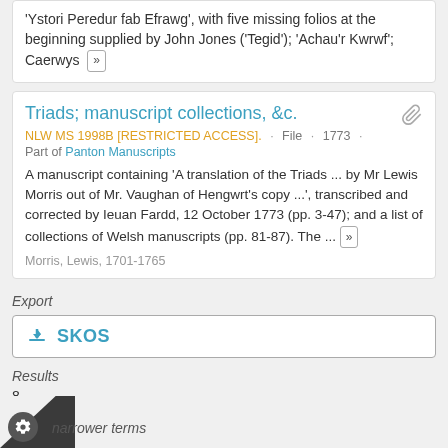'Ystori Peredur fab Efrawg', with five missing folios at the beginning supplied by John Jones ('Tegid'); 'Achau'r Kwrwf'; Caerwys ...
Triads; manuscript collections, &c.
NLW MS 1998B [RESTRICTED ACCESS]. · File · 1773 ·
Part of Panton Manuscripts
A manuscript containing 'A translation of the Triads ... by Mr Lewis Morris out of Mr. Vaughan of Hengwrt's copy ...', transcribed and corrected by Ieuan Fardd, 12 October 1773 (pp. 3-47); and a list of collections of Welsh manuscripts (pp. 81-87). The ...
Morris, Lewis, 1701-1765
Export
SKOS
Results
8
narrower terms